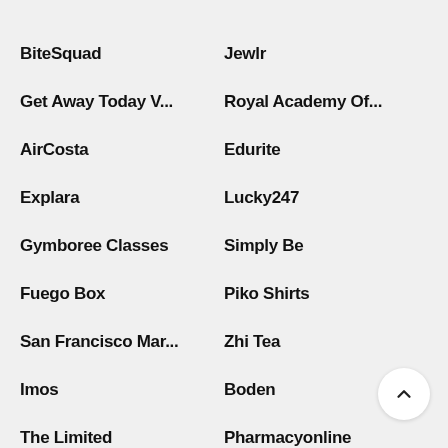BiteSquad
Jewlr
Get Away Today V...
Royal Academy Of...
AirCosta
Edurite
Explara
Lucky247
Gymboree Classes
Simply Be
Fuego Box
Piko Shirts
San Francisco Mar...
Zhi Tea
Imos
Boden
The Limited
Pharmacyonline